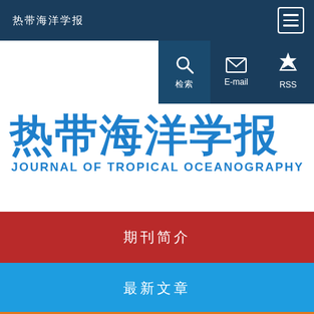热带海洋学报
[Figure (screenshot): Website navigation bar with search, email, and RSS icon buttons on dark blue background]
热带海洋学报
JOURNAL OF TROPICAL OCEANOGRAPHY
期刊简介
最新文章